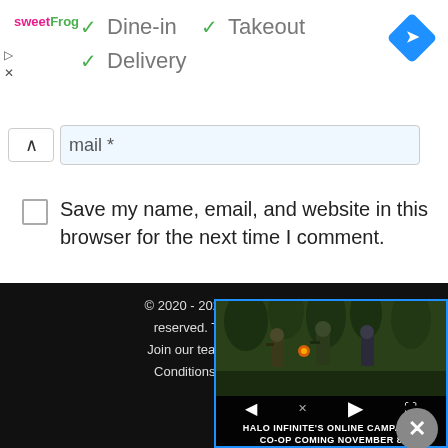[Figure (screenshot): sweetFrog logo and dine-in options (Dine-in, Takeout, Delivery with checkmarks) and navigation blue diamond icon]
mail
Save my name, email, and website in this browser for the next time I comment.
Post Comment
© 2020 - 2022 Copyright Te... reserved. This site is not... Join our team | Official Min... Conditions | Privacy Poli...
[Figure (screenshot): Video overlay showing Halo Infinite soldiers scene with controls and caption: HALO INFINITE'S ONLINE CAMPAIGN CO-OP COMING NOVEMBER 8]